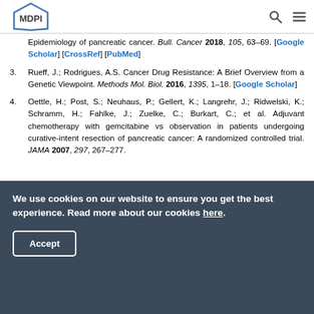MDPI
Epidemiology of pancreatic cancer. Bull. Cancer 2018, 105, 63–69. [Google Scholar] [CrossRef] [PubMed]
3. Rueff, J.; Rodrigues, A.S. Cancer Drug Resistance: A Brief Overview from a Genetic Viewpoint. Methods Mol. Biol. 2016, 1395, 1–18. [Google Scholar]
4. Oettle, H.; Post, S.; Neuhaus, P.; Gellert, K.; Langrehr, J.; Ridwelski, K.; Schramm, H.; Fahlke, J.; Zuelke, C.; Burkart, C.; et al. Adjuvant chemotherapy with gemcitabine vs observation in patients undergoing curative-intent resection of pancreatic cancer: A randomized controlled trial. JAMA 2007, 297, 267–277.
We use cookies on our website to ensure you get the best experience. Read more about our cookies here. Accept